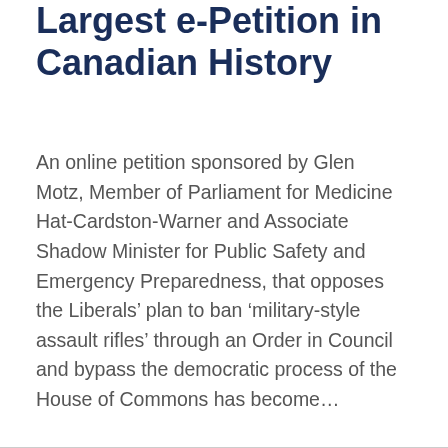Largest e-Petition in Canadian History
An online petition sponsored by Glen Motz, Member of Parliament for Medicine Hat-Cardston-Warner and Associate Shadow Minister for Public Safety and Emergency Preparedness, that opposes the Liberals’ plan to ban ‘military-style assault rifles’ through an Order in Council and bypass the democratic process of the House of Commons has become…